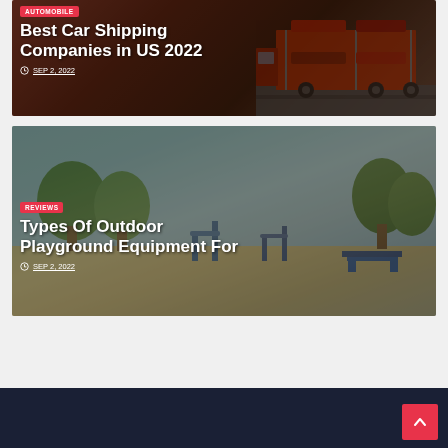[Figure (photo): Car shipping truck carrier with cars loaded on it, red and dark background. Category badge 'AUTOMOBILE' shown in red. Title 'Best Car Shipping Companies in US 2022' in white bold. Date 'SEP 2, 2022' with clock icon.]
[Figure (photo): Outdoor playground equipment in a park setting with trees in background. Blue fitness/playground equipment visible. Category badge 'REVIEWS' shown in red. Title 'Types Of Outdoor Playground Equipment For' in white bold. Date 'SEP 2, 2022' with clock icon.]
Scroll to top button (red arrow up button) in dark navy footer bar.